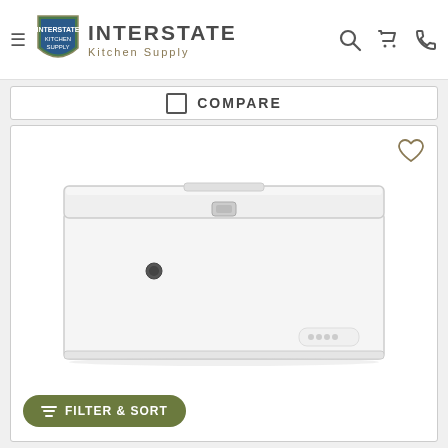Interstate Kitchen Supply
COMPARE
[Figure (photo): White chest freezer product image on a white background]
FILTER & SORT